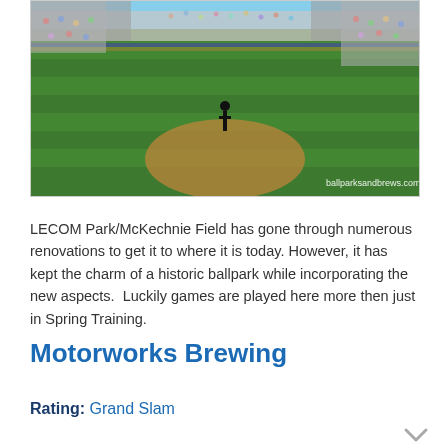[Figure (photo): Aerial view of a baseball field (LECOM Park/McKechnie Field) during a game, with green outfield, players on field, and packed stadium stands. Watermark reads ballparksandbrews.com]
LECOM Park/McKechnie Field has gone through numerous renovations to get it to where it is today. However, it has kept the charm of a historic ballpark while incorporating the new aspects. Luckily games are played here more then just in Spring Training.
Motorworks Brewing
Rating: Grand Slam